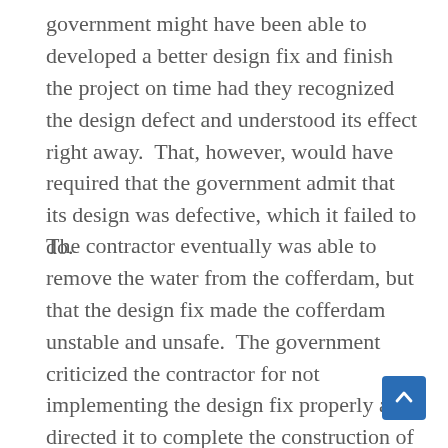government might have been able to developed a better design fix and finish the project on time had they recognized the design defect and understood its effect right away.  That, however, would have required that the government admit that its design was defective, which it failed to do.
The contractor eventually was able to remove the water from the cofferdam, but that the design fix made the cofferdam unstable and unsafe.  The government criticized the contractor for not implementing the design fix properly and directed it to complete the construction of the cofferdam “quickly.”nbsp; In July the contractor notified the government it considered the design of the cofferdam to be defective, asked for a new design